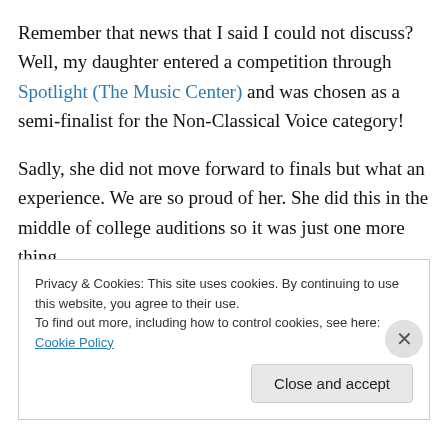Remember that news that I said I could not discuss? Well, my daughter entered a competition through Spotlight (The Music Center) and was chosen as a semi-finalist for the Non-Classical Voice category!
Sadly, she did not move forward to finals but what an experience. We are so proud of her. She did this in the middle of college auditions so it was just one more thing
Privacy & Cookies: This site uses cookies. By continuing to use this website, you agree to their use.
To find out more, including how to control cookies, see here: Cookie Policy